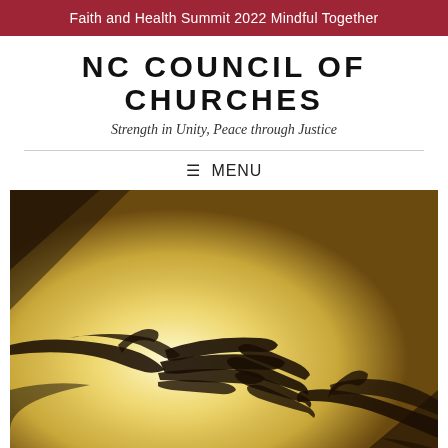Faith and Health Summit 2022 Mindful Together
NC COUNCIL OF CHURCHES
Strength in Unity, Peace through Justice
≡ MENU
[Figure (photo): Silhouette of two hands reaching toward each other against a warm golden-yellow backlit background, reminiscent of a connection or touch gesture.]